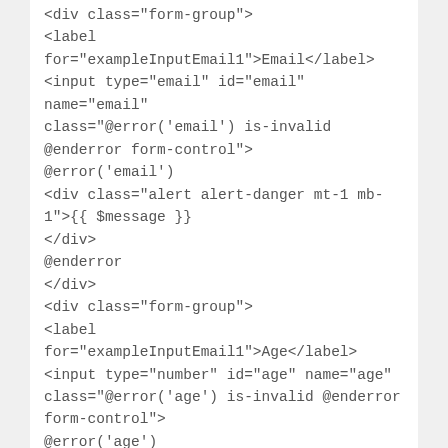<div class="form-group">
<label for="exampleInputEmail1">Email</label>
<input type="email" id="email" name="email"
class="@error('email') is-invalid @enderror form-control">
@error('email')
<div class="alert alert-danger mt-1 mb-1">{{ $message }}
</div>
@enderror
</div>
<div class="form-group">
<label for="exampleInputEmail1">Age</label>
<input type="number" id="age" name="age"
class="@error('age') is-invalid @enderror form-control">
@error('age')
<div class="alert alert-danger mt-1 mb-1">{{ $message }}
</div>
@enderror
</div>
<div class="form-group">